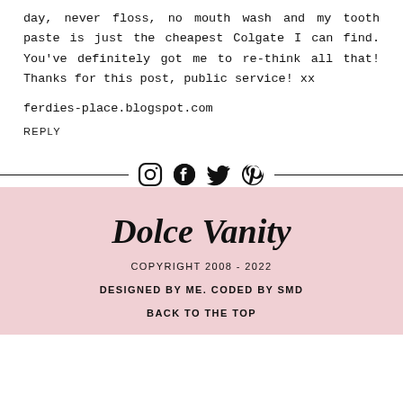day, never floss, no mouth wash and my tooth paste is just the cheapest Colgate I can find. You've definitely got me to re-think all that! Thanks for this post, public service! xx
ferdies-place.blogspot.com
REPLY
[Figure (infographic): Social media icons row: Instagram, Facebook, Twitter, Pinterest with horizontal divider lines on each side]
Dolce Vanity
COPYRIGHT 2008 - 2022
DESIGNED BY ME. CODED BY SMD
BACK TO THE TOP